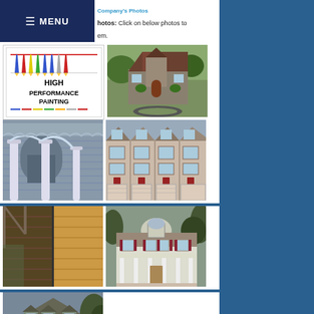Company's Photos: Click on below photos to see them.
[Figure (logo): High Performance Painting logo with colored pencils]
[Figure (photo): Large stone and brick Tudor-style house with circular driveway]
[Figure (photo): Blue Victorian-style porch detail with ornate columns]
[Figure (photo): Multi-unit townhouse complex with garage doors and red doors]
[Figure (photo): Wood deck and staircase before and after refinishing]
[Figure (photo): Victorian mansion with dormers and wraparound porch]
[Figure (photo): Cape Cod style house with dormers and attached garage]